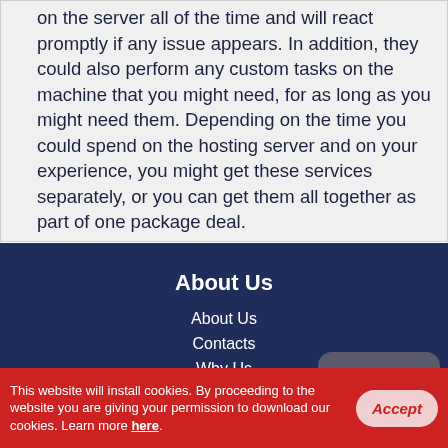on the server all of the time and will react promptly if any issue appears. In addition, they could also perform any custom tasks on the machine that you might need, for as long as you might need them. Depending on the time you could spend on the hosting server and on your experience, you might get these services separately, or you can get them all together as part of one package deal.
About Us
About Us
Contacts
Why Us
Website Migration
Hosting Platform
[Figure (other): Live Chat button — dark grey rounded speech bubble with chat icon and text 'Live Chat']
This website will install cookies. By proceeding to the website you are giving your permission to download our cookies. Learn more here.